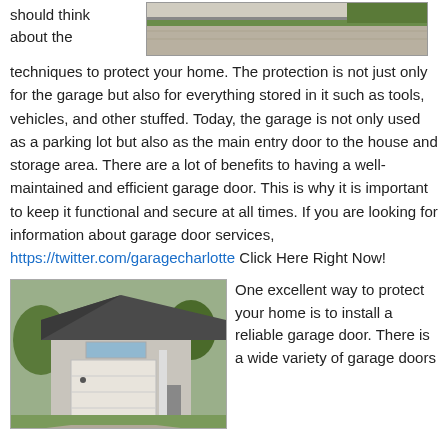should think about the
[Figure (photo): Aerial or elevated view of a driveway and lawn area]
techniques to protect your home. The protection is not just only for the garage but also for everything stored in it such as tools, vehicles, and other stuffed. Today, the garage is not only used as a parking lot but also as the main entry door to the house and storage area. There are a lot of benefits to having a well-maintained and efficient garage door. This is why it is important to keep it functional and secure at all times. If you are looking for information about garage door services, https://twitter.com/garagecharlotte Click Here Right Now!
[Figure (photo): Photo of a house with a white garage door, gray siding and dark roof]
One excellent way to protect your home is to install a reliable garage door. There is a wide variety of garage doors